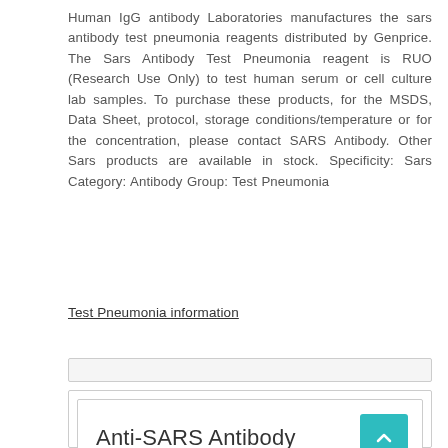Human IgG antibody Laboratories manufactures the sars antibody test pneumonia reagents distributed by Genprice. The Sars Antibody Test Pneumonia reagent is RUO (Research Use Only) to test human serum or cell culture lab samples. To purchase these products, for the MSDS, Data Sheet, protocol, storage conditions/temperature or for the concentration, please contact SARS Antibody. Other Sars products are available in stock. Specificity: Sars Category: Antibody Group: Test Pneumonia
Test Pneumonia information
|  |  |  |  |
| --- | --- | --- | --- |
| Anti-SARS Antibody |  |  |  |
| STJ115313 | St John's Laboratory | 100 Ml | EUR 277 |